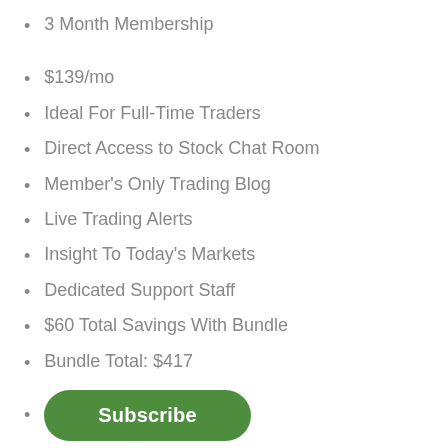3 Month Membership
$139/mo
Ideal For Full-Time Traders
Direct Access to Stock Chat Room
Member's Only Trading Blog
Live Trading Alerts
Insight To Today's Markets
Dedicated Support Staff
$60 Total Savings With Bundle
Bundle Total: $417
Subscribe
Annual
12 Month Membership